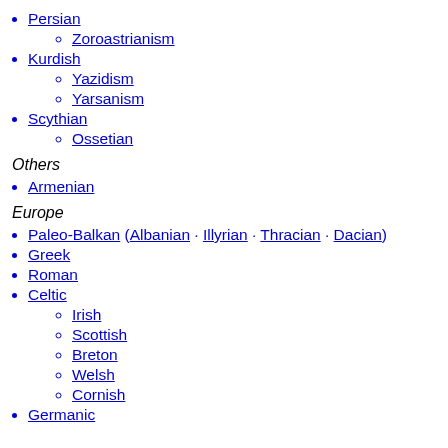Persian
Zoroastrianism
Kurdish
Yazidism
Yarsanism
Scythian
Ossetian
Others
Armenian
Europe
Paleo-Balkan (Albanian · Illyrian · Thracian · Dacian)
Greek
Roman
Celtic
Irish
Scottish
Breton
Welsh
Cornish
Germanic